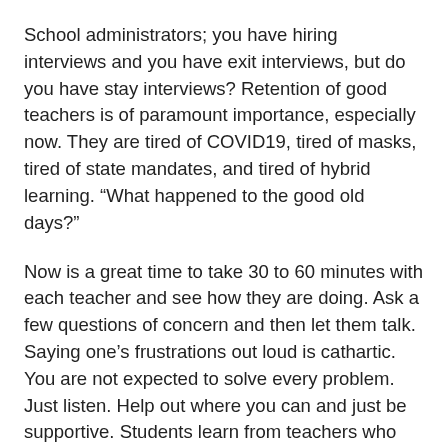School administrators; you have hiring interviews and you have exit interviews, but do you have stay interviews? Retention of good teachers is of paramount importance, especially now. They are tired of COVID19, tired of masks, tired of state mandates, and tired of hybrid learning. “What happened to the good old days?”
Now is a great time to take 30 to 60 minutes with each teacher and see how they are doing. Ask a few questions of concern and then let them talk. Saying one’s frustrations out loud is cathartic. You are not expected to solve every problem. Just listen. Help out where you can and just be supportive. Students learn from teachers who care about them as people. Teachers teach for leaders who care about them as people.